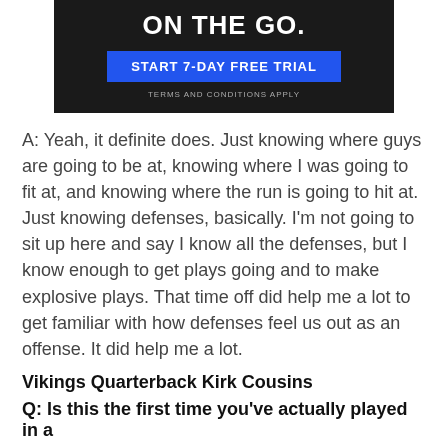[Figure (screenshot): Dark advertisement banner with text 'ON THE GO.' and a blue button reading 'START 7-DAY FREE TRIAL' and small text 'TERMS AND CONDITIONS APPLY']
A: Yeah, it definite does. Just knowing where guys are going to be at, knowing where I was going to fit at, and knowing where the run is going to hit at. Just knowing defenses, basically. I'm not going to sit up here and say I know all the defenses, but I know enough to get plays going and to make explosive plays. That time off did help me a lot to get familiar with how defenses feel us out as an offense. It did help me a lot.
Vikings Quarterback Kirk Cousins
Q: Is this the first time you've actually played in a
[Figure (other): Social sharing icons row: Facebook, Twitter, Email, Link]